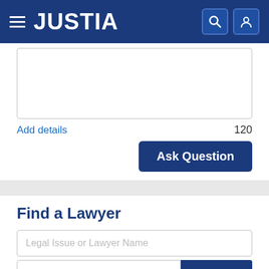JUSTIA
Add details
120
Ask Question
Find a Lawyer
Legal Issue or Lawyer Name
South Carolina
Search
Lawyers - Get Listed Now!
Get a free directory profile listing